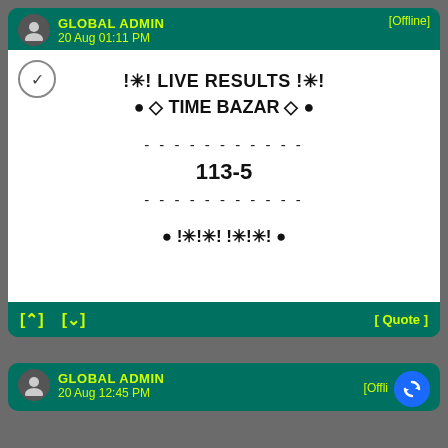GLOBAL ADMIN — 20 Aug 01:11 PM — [Offline]
!✳! LIVE RESULTS !✳!
● ◇ TIME BAZAR ◇ ●
- - - - - - - - - - -
113-5
- - - - - - - - - - -
● !✳!✳! !✳!✳! ●
[⬆] [⬇] [ Quote ]
GLOBAL ADMIN — 20 Aug 12:45 PM — [Offli...